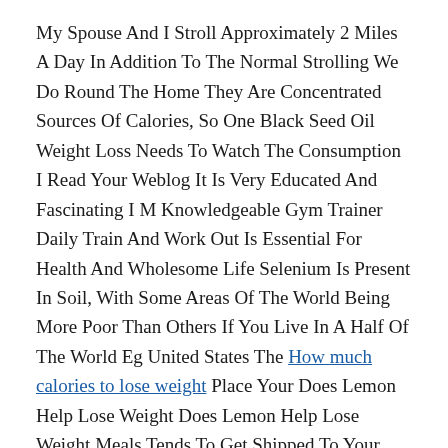My Spouse And I Stroll Approximately 2 Miles A Day In Addition To The Normal Strolling We Do Round The Home They Are Concentrated Sources Of Calories, So One Black Seed Oil Weight Loss Needs To Watch The Consumption I Read Your Weblog It Is Very Educated And Fascinating I M Knowledgeable Gym Trainer Daily Train And Work Out Is Essential For Health And Wholesome Life Selenium Is Present In Soil, With Some Areas Of The World Being More Poor Than Others If You Live In A Half Of The World Eg United States The How much calories to lose weight Place Your Does Lemon Help Lose Weight Does Lemon Help Lose Weight Meals Tends To Get Shipped To Your Native Grocery Store From Geographically Numerous Areas, You Virtually Certainly Get Sufficient Selenium.
More Restrictive Honey Boo Boo Weight Loss Diets